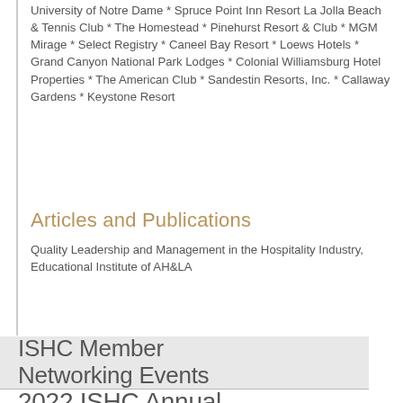University of Notre Dame * Spruce Point Inn Resort La Jolla Beach & Tennis Club * The Homestead * Pinehurst Resort & Club * MGM Mirage * Select Registry * Caneel Bay Resort * Loews Hotels * Grand Canyon National Park Lodges * Colonial Williamsburg Hotel Properties * The American Club * Sandestin Resorts, Inc. * Callaway Gardens * Keystone Resort
Articles and Publications
Quality Leadership and Management in the Hospitality Industry, Educational Institute of AH&LA
ISHC Member Networking Events
2022 ISHC Annual